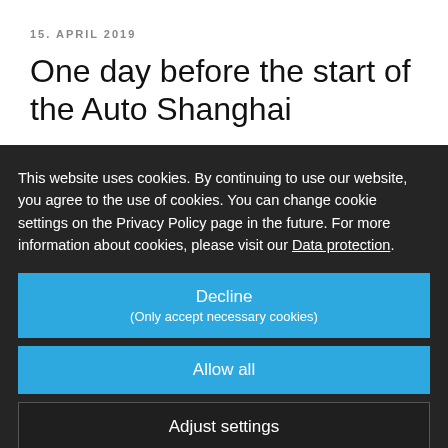15. APRIL 2019
One day before the start of the Auto Shanghai
This website uses cookies. By continuing to use our website, you agree to the use of cookies. You can change cookie settings on the Privacy Policy page in the future. For more information about cookies, please visit our Data protection.
Decline
(Only accept necessary cookies)
Allow all
Adjust settings